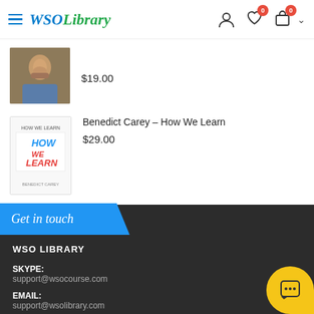WSO Library - navigation header with hamburger menu, logo, user icon, wishlist (0), cart (0)
$19.00
Benedict Carey – How We Learn
$29.00
Get in touch
WSO LIBRARY
SKYPE:
support@wsocourse.com
EMAIL:
support@wsolibrary.com